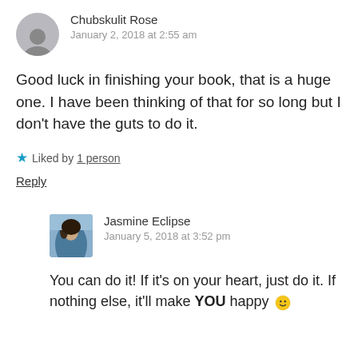Chubskulit Rose
January 2, 2018 at 2:55 am
Good luck in finishing your book, that is a huge one. I have been thinking of that for so long but I don't have the guts to do it.
★ Liked by 1 person
Reply
Jasmine Eclipse
January 5, 2018 at 3:52 pm
You can do it! If it's on your heart, just do it. If nothing else, it'll make YOU happy 🙂